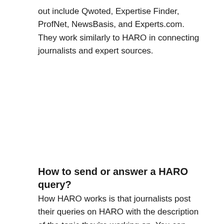out include Qwoted, Expertise Finder, ProfNet, NewsBasis, and Experts.com. They work similarly to HARO in connecting journalists and expert sources.
How to send or answer a HARO query?
How HARO works is that journalists post their queries on HARO with the description of the topic they're working on. You can post a few questions that you want